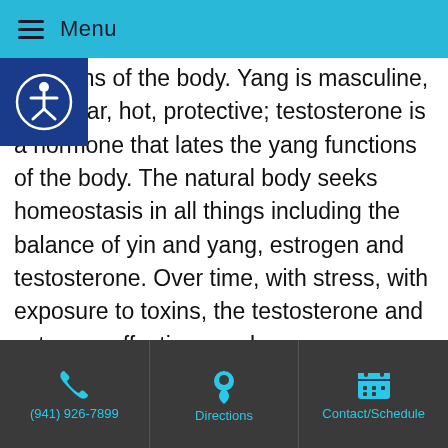Menu
functions of the body. Yang is masculine, muscular, hot, protective; testosterone is a hormone that lates the yang functions of the body. The natural body seeks homeostasis in all things including the balance of yin and yang, estrogen and testosterone. Over time, with stress, with exposure to toxins, the testosterone and estrogen effectiveness becomes weakened creating an under functioning body in general which means all systems are weakened including the digestive system.  The solution is not to add chemical estrogen or testosterone to the body.
(941) 926-7899 | Directions | Contact/Schedule